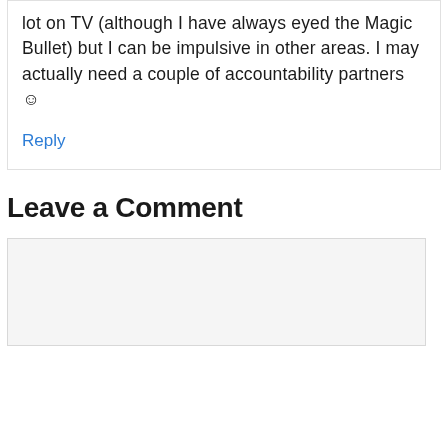lot on TV (although I have always eyed the Magic Bullet) but I can be impulsive in other areas. I may actually need a couple of accountability partners ☺
Reply
Leave a Comment